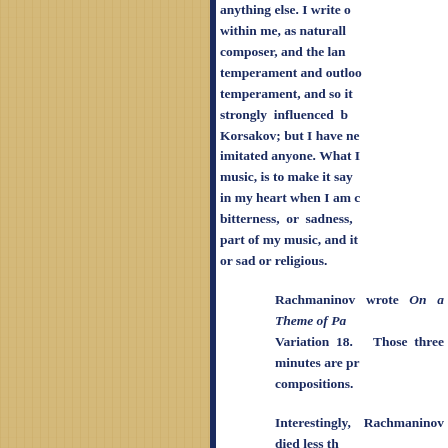anything else. I write only what is within me, as naturally as possible for a composer, and the land with its temperament and outlook has molded my temperament, and so it has. I have been strongly influenced by Tchaikovsky and Korsakov; but I have never consciously imitated anyone. What I try to do in my music, is to make it say simply what is in my heart when I am composing. If there is bitterness, or sadness, or religion, it is part of my music, and it will be bitter, or sad or religious.
Rachmaninov wrote On a Theme of Paganini, Variation 18. Those three minutes are probably his most famous compositions.
Interestingly, Rachmaninov died less than a month before I was born. I am told by the reader that as he was dying, I was being born in the same era — not exactly contemporary since I was born within a couple of months prior to his death.
On a more serious musical note, Rachmaninov's Variation 18 became the theme song for the movie, Somewhere in Time.